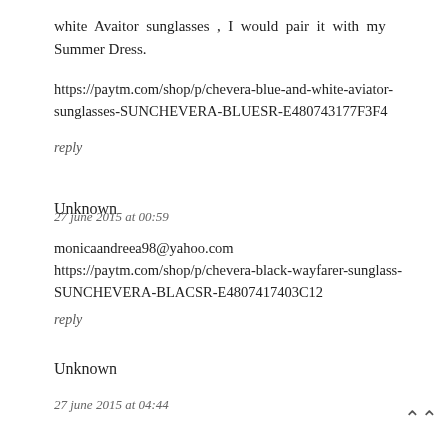white Avaitor sunglasses , I would pair it with my Summer Dress.
https://paytm.com/shop/p/chevera-blue-and-white-aviator-sunglasses-SUNCHEVERA-BLUESR-E480743177F3F4
reply
Unknown
27 june 2015 at 00:59
monicaandreea98@yahoo.com https://paytm.com/shop/p/chevera-black-wayfarer-sunglass-SUNCHEVERA-BLACSR-E4807417403C12
reply
Unknown
27 june 2015 at 04:44